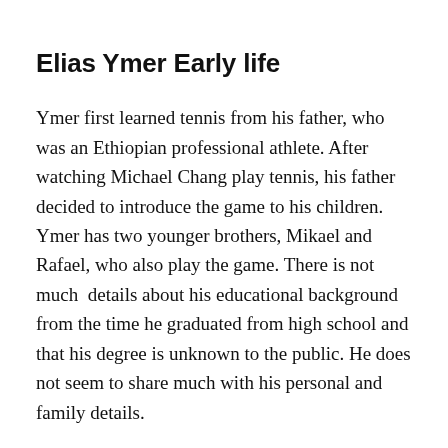Elias Ymer Early life
Ymer first learned tennis from his father, who was an Ethiopian professional athlete. After watching Michael Chang play tennis, his father decided to introduce the game to his children. Ymer has two younger brothers, Mikael and Rafael, who also play the game. There is not much  details about his educational background from the time he graduated from high school and that his degree is unknown to the public. He does not seem to share much with his personal and family details.